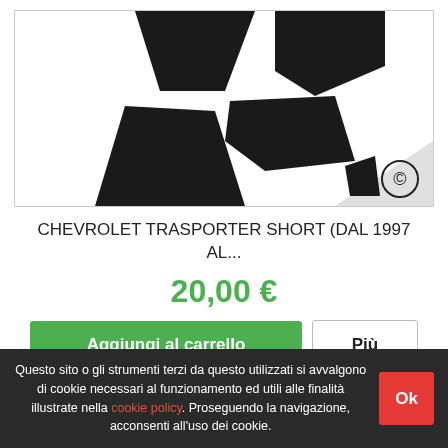[Figure (photo): Product image showing dark-colored car window sun shades/tints arranged in an abstract pattern on white background with a small logo in bottom right corner]
CHEVROLET TRASPORTER SHORT (DAL 1997 AL...
20,00 €
Aggiungi al carrello
Più
Questo sito o gli strumenti terzi da questo utilizzati si avvalgono di cookie necessari al funzionamento ed utili alle finalità illustrate nella cookie policy. Proseguendo la navigazione, acconsenti all'uso dei cookie.
Ok